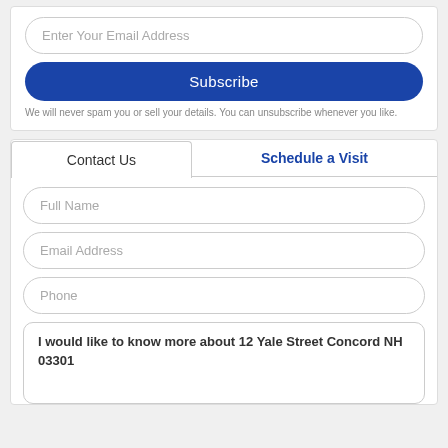Enter Your Email Address
Subscribe
We will never spam you or sell your details. You can unsubscribe whenever you like.
Contact Us
Schedule a Visit
Full Name
Email Address
Phone
I would like to know more about 12 Yale Street Concord NH 03301